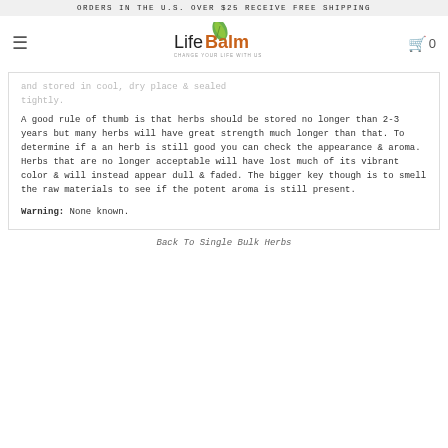ORDERS IN THE U.S. OVER $25 RECEIVE FREE SHIPPING
[Figure (logo): LifeBalm logo with green leaf icon and tagline 'CHANGE YOUR LIFE WITH US']
...and stored in cool, dry place & sealed tightly.
A good rule of thumb is that herbs should be stored no longer than 2-3 years but many herbs will have great strength much longer than that. To determine if a an herb is still good you can check the appearance & aroma. Herbs that are no longer acceptable will have lost much of its vibrant color & will instead appear dull & faded. The bigger key though is to smell the raw materials to see if the potent aroma is still present.
Warning: None known.
Back To Single Bulk Herbs